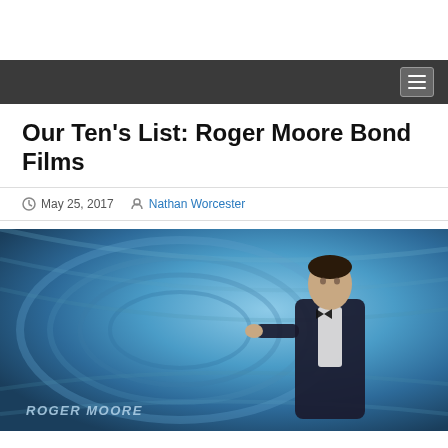Our Ten’s List: Roger Moore Bond Films
May 25, 2017  Nathan Worcester
[Figure (photo): Roger Moore as James Bond against a blue swirling background with text 'ROGER MOORE' at bottom left]